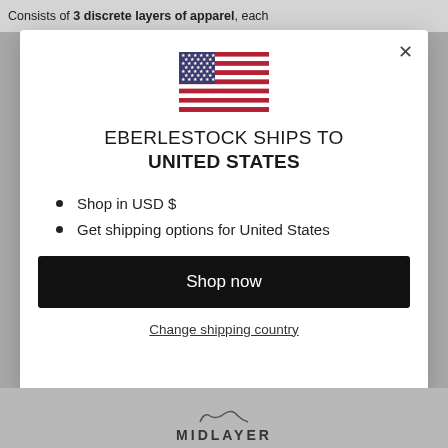Consists of 3 discrete layers of apparel, each
[Figure (screenshot): Modal dialog showing US flag, shipping destination text, bullet list, shop now button, and change shipping country link]
EBERLESTOCK SHIPS TO UNITED STATES
Shop in USD $
Get shipping options for United States
Shop now
Change shipping country
MIDLAYER